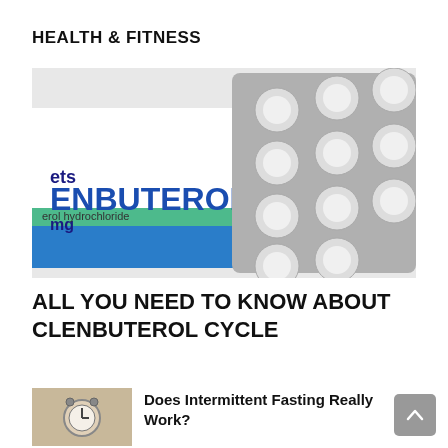HEALTH & FITNESS
[Figure (photo): Photo of a Clenbuterol medication box (white with blue stripe and green stripe, text reads 'ets', 'ENBUTEROL', 'mg', 'erol hydrochloride') next to a silver blister pack of round white tablets.]
ALL YOU NEED TO KNOW ABOUT CLENBUTEROL CYCLE
[Figure (photo): Small thumbnail photo of an alarm clock on a surface, related to intermittent fasting article.]
Does Intermittent Fasting Really Work?